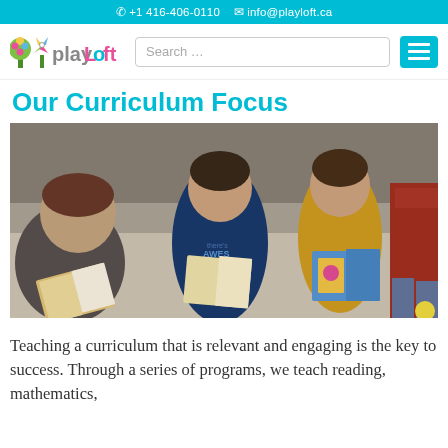+1 416-406-0110  info@playloft.ca
[Figure (logo): PlayLoft logo with colorful tree and windmill, text 'play' in gray and 'Loft' in pink/magenta]
Our Curriculum Focus
[Figure (photo): Children sitting on the floor reading picture books together in a classroom setting]
Teaching a curriculum that is relevant and engaging is the key to success. Through a series of programs, we teach reading, mathematics,